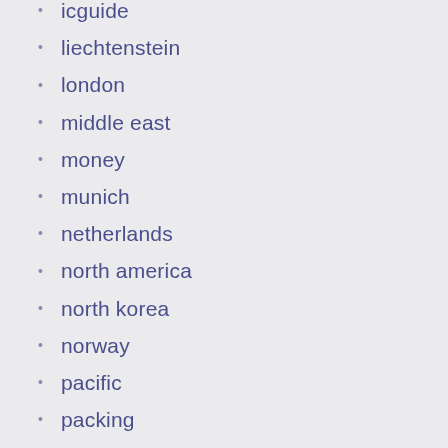icguide
liechtenstein
london
middle east
money
munich
netherlands
north america
north korea
norway
pacific
packing
paris
photo
planning
portugal
romania
russia